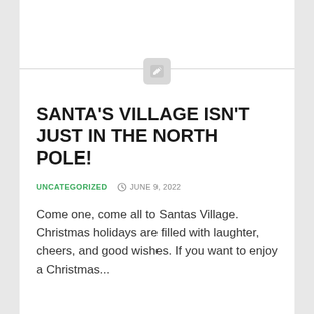SANTA'S VILLAGE ISN'T JUST IN THE NORTH POLE!
UNCATEGORIZED   JUNE 9, 2022
Come one, come all to Santas Village. Christmas holidays are filled with laughter, cheers, and good wishes. If you want to enjoy a Christmas...